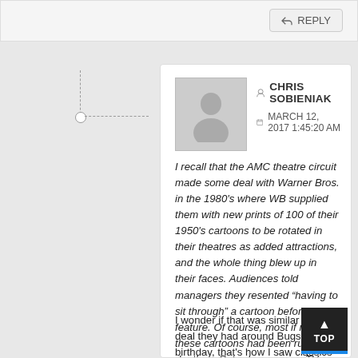REPLY
CHRIS SOBIENIAK
MARCH 12, 2017 1:45:20 AM
I recall that the AMC theatre circuit made some deal with Warner Bros. in the 1980's where WB supplied them with new prints of 100 of their 1950's cartoons to be rotated in their theatres as added attractions, and the whole thing blew up in their faces. Audiences told managers they resented “having to sit through” a cartoon before the feature. Of course, most if not all of these cartoons had been run to death on Saturday morning TV shows for years.
I wonder if that was similar to the deal they had around Bugs' 50th birthday, that's how I saw classics like “Baton Bunny” and “Big House Bunny” on the